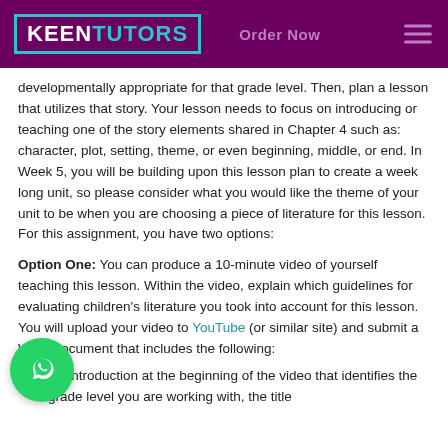KEEN TUTORS — Order Now
developmentally appropriate for that grade level. Then, plan a lesson that utilizes that story. Your lesson needs to focus on introducing or teaching one of the story elements shared in Chapter 4 such as: character, plot, setting, theme, or even beginning, middle, or end. In Week 5, you will be building upon this lesson plan to create a week long unit, so please consider what you would like the theme of your unit to be when you are choosing a piece of literature for this lesson.   For this assignment, you have two options:
Option One: You can produce a 10-minute video of yourself teaching this lesson. Within the video, explain which guidelines for evaluating children's literature you took into account for this lesson. You will upload your video to YouTube (or similar site) and submit a Word document that includes the following:
An introduction at the beginning of the video that identifies the grade level you are working with, the title